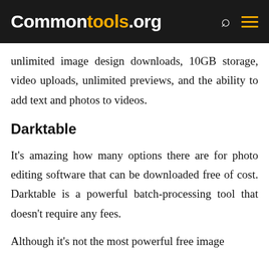Commontools.org
unlimited image design downloads, 10GB storage, video uploads, unlimited previews, and the ability to add text and photos to videos.
Darktable
It's amazing how many options there are for photo editing software that can be downloaded free of cost. Darktable is a powerful batch-processing tool that doesn't require any fees.
Although it's not the most powerful free image